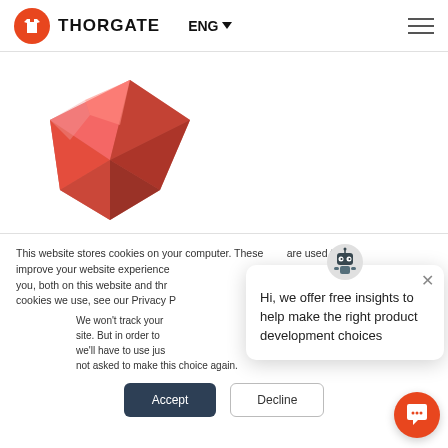THORGATE | ENG
[Figure (illustration): Red ruby/gem 3D illustration, partially visible, showing faceted red crystal shape]
This website stores cookies on your computer. These cookies are used to improve your website experience and provide more personalized services to you, both on this website and through other media. To find out more about the cookies we use, see our Privacy P...
We won't track your information when you visit our site. But in order to comply with your preferences, we'll have to use just one tiny cookie so that you're not asked to make this choice again.
[Figure (infographic): Chat popup overlay with robot/bot icon at top, close X button, and text: Hi, we offer free insights to help make the right product development choices]
Hi, we offer free insights to help make the right product development choices